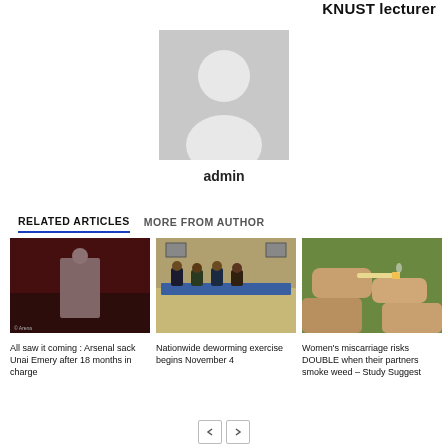KNUST lecturer
[Figure (illustration): Default avatar/profile placeholder image — grey silhouette of a person on light grey background]
admin
RELATED ARTICLES   MORE FROM AUTHOR
[Figure (photo): A man in a grey shirt on a football pitch with a crowd in the background — Unai Emery]
All saw it coming : Arsenal sack Unai Emery after 18 months in charge
[Figure (photo): People seated around a conference table in a meeting room]
Nationwide deworming exercise begins November 4
[Figure (photo): Close-up of hands holding a smoking joint]
Women's miscarriage risks DOUBLE when their partners smoke weed – Study Suggest